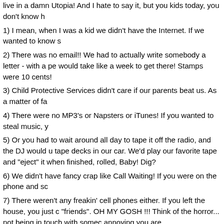live in a damn Utopia! And I hate to say it, but you kids today, you don't know h
1) I mean, when I was a kid we didn't have the Internet. If we wanted to know s
2) There was no email!! We had to actually write somebody a letter - with a pe would take like a week to get there! Stamps were 10 cents!
3) Child Protective Services didn't care if our parents beat us. As a matter of fa
4) There were no MP3's or Napsters or iTunes! If you wanted to steal music, y
5) Or you had to wait around all day to tape it off the radio, and the DJ would u tape decks in our car. We'd play our favorite tape and "eject" it when finished, rolled, Baby! Dig?
6) We didn't have fancy crap like Call Waiting! If you were on the phone and sc
7) There weren't any freakin' cell phones either. If you left the house, you just c "friends". OH MY GOSH !!! Think of the horror... not being in touch with somec annoying you are.
8) And we didn't have fancy Caller ID either! When the phone rang, you had ne drug dealer, the collection agent... you just didn't know!!! You had to pick it up a
9) We didn't have any fancy PlayStation or Xbox video games with high-resolu 'Asteroids'. Your screen guy was a little square! You actually had to use your ir Forever! And you could never win. The game just kept getting harder and hard
10) You had to use a little book called a TV Guide to find out what was on! You over to the TV to change the channel!!! NO REMOTES!!! Oh, no, what's the w
11) There was no Cartoon Network either! You could only get cartoons on Sat